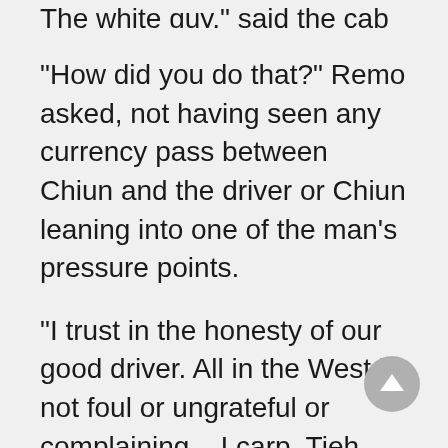The white guy," said the cab driver.
"How did you do that?" Remo asked, not having seen any currency pass between Chiun and the driver or Chiun leaning into one of the man's pressure points.
"I trust in the honesty of our good driver. All in the West is not foul or ungrateful or complaining... I carp, Tieh, heh," cackled Chiun. "I carp."
There were a multitude of reasons why Chiun could not possibly carp. Remo heard every one of them in detail on the way to the board of education, the last one being it was not Chiun who had lost Kaufmann, not Chiun who had said fifty-seven different gambling odds, not Chiun who had...